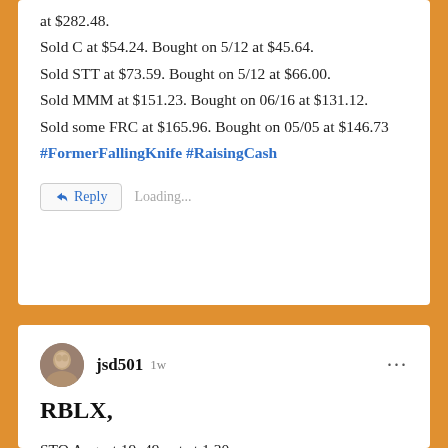at $282.48. Sold C at $54.24. Bought on 5/12 at $45.64. Sold STT at $73.59. Bought on 5/12 at $66.00. Sold MMM at $151.23. Bought on 06/16 at $131.12. Sold some FRC at $165.96. Bought on 05/05 at $146.73 #FormerFallingKnife #RaisingCash
Reply Loading...
jsd501 1w
RBLX,
STO August 19, 49 put at 1.30
DVN,
STO August 19, 62 put at 1.35